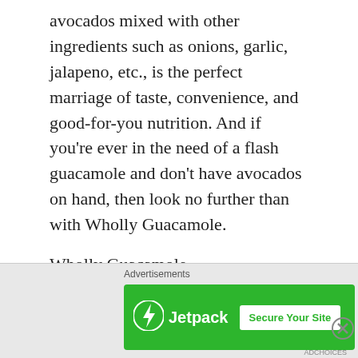avocados mixed with other ingredients such as onions, garlic, jalapeno, etc., is the perfect marriage of taste, convenience, and good-for-you nutrition. And if you're ever in the need of a flash guacamole and don't have avocados on hand, then look no further than with Wholly Guacamole.
Wholly Guacamole (http://eatwholly.com/), one of the most popular brands of natural and delicious guacamole and salsas have been making fresh and wholesome guacamole and salsas for over twenty years. They start with fresh ingredients and make and ship immediately to your nearby market. If
Advertisements
[Figure (other): Jetpack advertisement banner with green background, Jetpack logo and lightning bolt icon on left, and 'Secure Your Site' button on right]